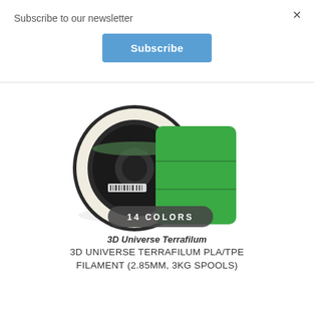Subscribe to our newsletter
×
Subscribe
[Figure (photo): A spool of white/cream 3D printing filament with a green color sample card in front, overlaid with a dark rounded badge reading '14 COLORS']
3D Universe Terrafilum
3D UNIVERSE TERRAFILUM PLA/TPE FILAMENT (2.85MM, 3KG SPOOLS)